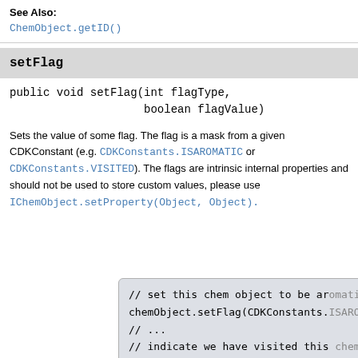See Also:
ChemObject.getID()
setFlag
public void setFlag(int flagType,
                    boolean flagValue)
Sets the value of some flag. The flag is a mask from a given CDKConstant (e.g. CDKConstants.ISAROMATIC or CDKConstants.VISITED). The flags are intrinsic internal properties and should not be used to store custom values, please use IChemObject.setProperty(Object, Object).
// set this chem object to be aromatic
chemObject.setFlag(CDKConstants.ISAROMA...
// ...
// indicate we have visited this chem o...
chemObject.setFlag(CDKConstants.VISITE...